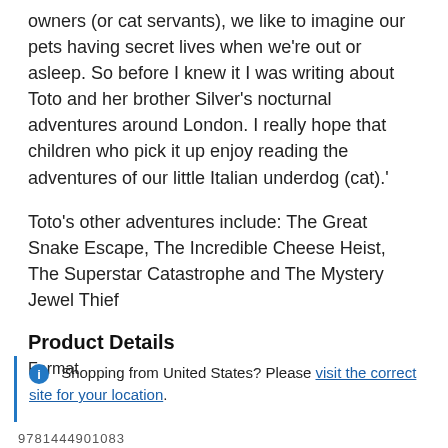owners (or cat servants), we like to imagine our pets having secret lives when we're out or asleep. So before I knew it I was writing about Toto and her brother Silver's nocturnal adventures around London. I really hope that children who pick it up enjoy reading the adventures of our little Italian underdog (cat).'
Toto's other adventures include: The Great Snake Escape, The Incredible Cheese Heist, The Superstar Catastrophe and The Mystery Jewel Thief
Product Details
Format
Shopping from United States? Please visit the correct site for your location.
9781444901083